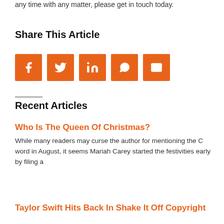any time with any matter, please get in touch today.
Share This Article
[Figure (infographic): Five orange square social media share buttons: Facebook, Twitter, LinkedIn, WhatsApp, Email]
Recent Articles
Who Is The Queen Of Christmas?
While many readers may curse the author for mentioning the C word in August, it seems Mariah Carey started the festivities early by filing a
Taylor Swift Hits Back In Shake It Off Copyright